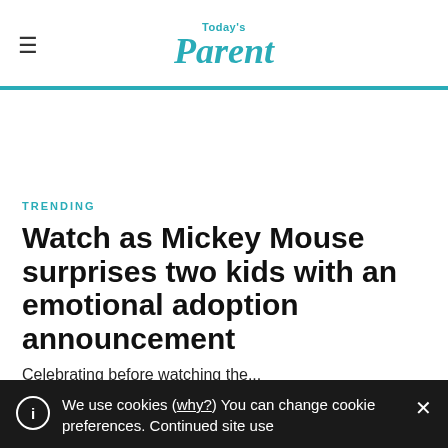Today's Parent
TRENDING
Watch as Mickey Mouse surprises two kids with an emotional adoption announcement
Celebrating before watching the...
We use cookies (why?) You can change cookie preferences. Continued site use